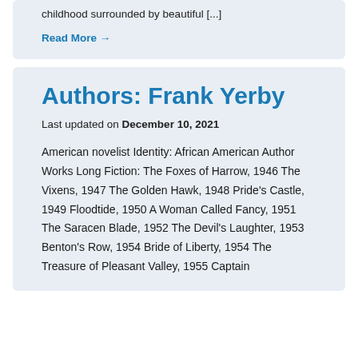childhood surrounded by beautiful [...]
Read More →
Authors: Frank Yerby
Last updated on December 10, 2021
American novelist Identity: African American Author Works Long Fiction: The Foxes of Harrow, 1946 The Vixens, 1947 The Golden Hawk, 1948 Pride's Castle, 1949 Floodtide, 1950 A Woman Called Fancy, 1951 The Saracen Blade, 1952 The Devil's Laughter, 1953 Benton's Row, 1954 Bride of Liberty, 1954 The Treasure of Pleasant Valley, 1955 Captain